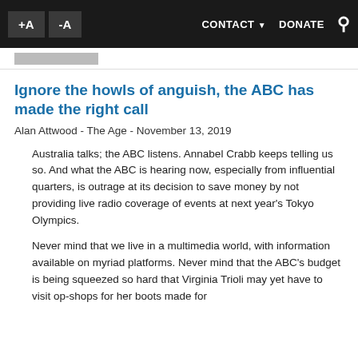+A  -A   CONTACT ▼  DONATE  🔍
Ignore the howls of anguish, the ABC has made the right call
Alan Attwood - The Age - November 13, 2019
Australia talks; the ABC listens. Annabel Crabb keeps telling us so. And what the ABC is hearing now, especially from influential quarters, is outrage at its decision to save money by not providing live radio coverage of events at next year's Tokyo Olympics.
Never mind that we live in a multimedia world, with information available on myriad platforms. Never mind that the ABC's budget is being squeezed so hard that Virginia Trioli may yet have to visit op-shops for her boots made for